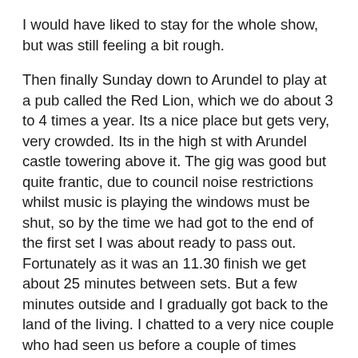I would have liked to stay for the whole show, but was still feeling a bit rough.
Then finally Sunday down to Arundel to play at a pub called the Red Lion, which we do about 3 to 4 times a year. Its a nice place but gets very, very crowded. Its in the high st with Arundel castle towering above it. The gig was good but quite frantic, due to council noise restrictions whilst music is playing the windows must be shut, so by the time we had got to the end of the first set I was about ready to pass out. Fortunately as it was an 11.30 finish we get about 25 minutes between sets. But a few minutes outside and I gradually got back to the land of the living. I chatted to a very nice couple who had seen us before a couple of times about the music we play and the instruments and so forth. The chap ihe turned out was a neophyte bass player who had started on electric but was now starting to develop his chops on double bass. Double bass in folk jazz and popular music is a very